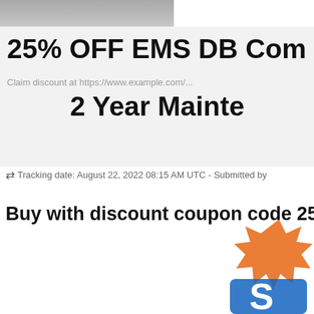[Figure (photo): Partial photo of a person, cropped at top left]
25% OFF EMS DB Com
2 Year Mainte
Claim discount at https://www...
Tracking date: August 22, 2022 08:15 AM UTC - Submitted by
Buy with discount coupon code 25% OFF
[Figure (illustration): Sale/discount graphic with orange star burst and letter S logo at bottom right]